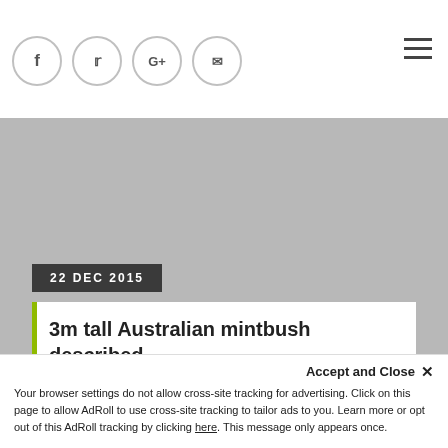Social share icons: f, Twitter, G+, Mail; Hamburger menu
[Figure (photo): Grey hero image placeholder area]
22 DEC 2015
3m tall Australian mintbush described
Subscribe now and be the first to know
Accept and Close ×
Your browser settings do not allow cross-site tracking for advertising. Click on this page to allow AdRoll to use cross-site tracking to tailor ads to you. Learn more or opt out of this AdRoll tracking by clicking here. This message only appears once.